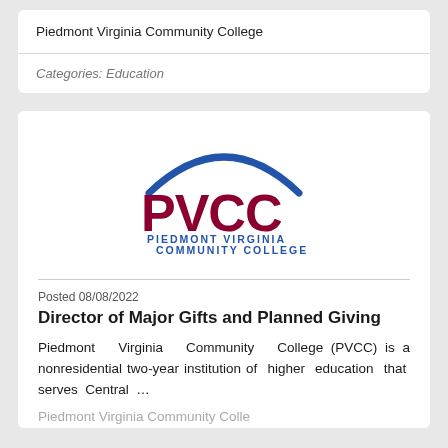Piedmont Virginia Community College
Categories: Education
[Figure (logo): PVCC Piedmont Virginia Community College logo with blue arc, red PVCC letters, and tagline 'Opportunity. Access. Excellence.']
Posted 08/08/2022
Director of Major Gifts and Planned Giving
Piedmont Virginia Community College (PVCC) is a nonresidential two-year institution of higher education that serves Central …
Piedmont Virginia Community Colle